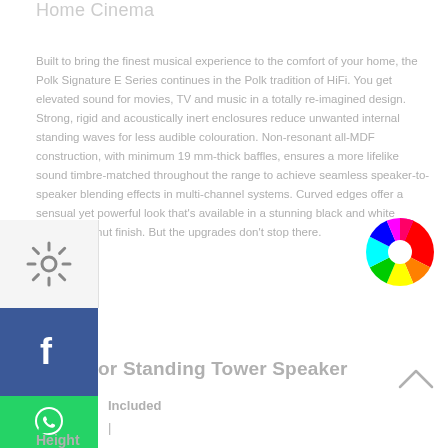Home Cinema
Built to bring the finest musical experience to the comfort of your home, the Polk Signature E Series continues in the Polk tradition of HiFi. You get elevated sound for movies, TV and music in a totally re-imagined design. Strong, rigid and acoustically inert enclosures reduce unwanted internal standing waves for less audible colouration. Non-resonant all-MDF construction, with minimum 19 mm-thick baffles, ensures a more lifelike sound timbre-matched throughout the range to achieve seamless speaker-to-speaker blending effects in multi-channel systems. Curved edges offer a sensual yet powerful look that's available in a stunning black and white washed walnut finish. But the upgrades don't stop there.
[Figure (logo): Settings gear icon in sidebar]
[Figure (logo): Facebook logo icon in blue sidebar button]
[Figure (logo): WhatsApp logo icon in green sidebar button]
[Figure (illustration): Colorful spinning color wheel / pinwheel icon]
or Standing Tower Speaker
Included
|
Height